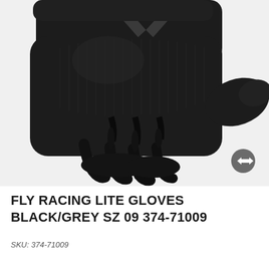[Figure (photo): Close-up photo of a black Fly Racing Lite glove with grey chevron logo on the back, showing fingers curled. A dark grey circular expand/resize button is visible in the lower right corner of the image.]
FLY RACING LITE GLOVES BLACK/GREY SZ 09 374-71009
SKU: 374-71009